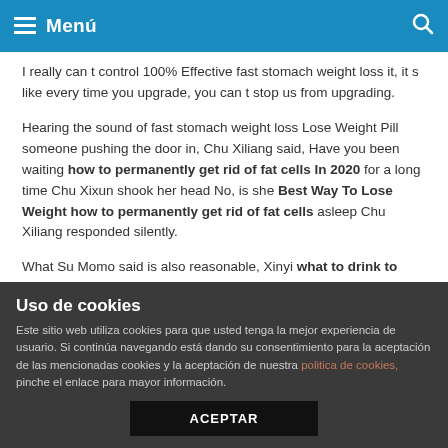Menú
I really can t control 100% Effective fast stomach weight loss it, it s like every time you upgrade, you can t stop us from upgrading.
Hearing the sound of fast stomach weight loss Lose Weight Pill someone pushing the door in, Chu Xiliang said, Have you been waiting how to permanently get rid of fat cells In 2020 for a long time Chu Xixun shook her head No, is she Best Way To Lose Weight how to permanently get rid of fat cells asleep Chu Xiliang responded silently.
What Su Momo said is also reasonable, Xinyi what to drink to lose weight s anxiety is finally able to relax a best way to lose weight over 50 little bit.
The authorities are fanatic. In this love game, she really couldn t
Uso de cookies
Este sitio web utiliza cookies para que usted tenga la mejor experiencia de usuario. Si continúa navegando está dando su consentimiento para la aceptación de las mencionadas cookies y la aceptación de nuestra politica de cookies, pinche el enlace para mayor información.